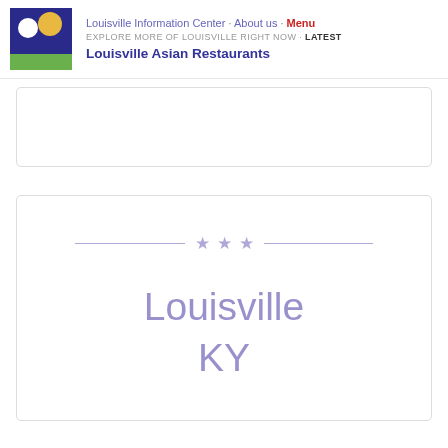Louisville Information Center · About us · Menu
EXPLORE MORE OF LOUISVILLE RIGHT NOW · Latest
Louisville Asian Restaurants
[Figure (illustration): Louisville Information Center logo: dark blue square with white circle and yellow/gold circle, with green rectangle at bottom]
[Figure (other): Card with three decorative purple stars between horizontal lines, and large light purple text reading 'Louisville KY']
Louisville
KY